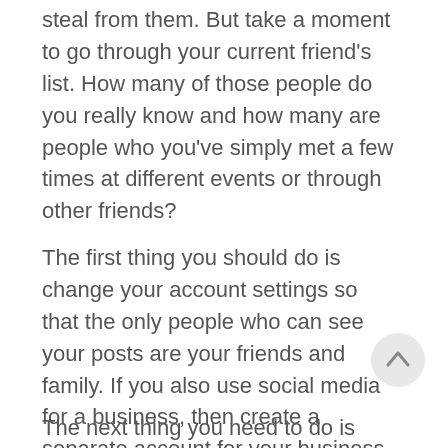steal from them. But take a moment to go through your current friend's list. How many of those people do you really know and how many are people who you've simply met a few times at different events or through other friends?
The first thing you should do is change your account settings so that the only people who can see your posts are your friends and family. If you also use social media for a business, then create a separate account for your business and make sure you don't include any of your travel plans on it.
The next thing you need to do is refrain from sharing information about vacation